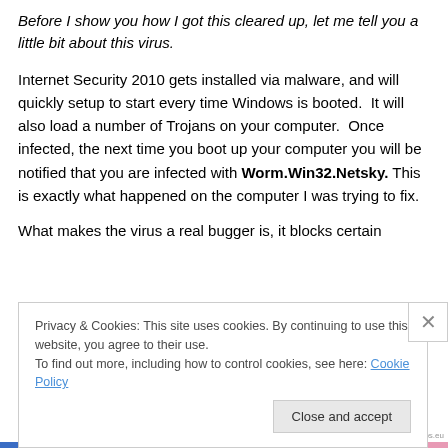Before I show you how I got this cleared up, let me tell you a little bit about this virus.
Internet Security 2010 gets installed via malware, and will quickly setup to start every time Windows is booted. It will also load a number of Trojans on your computer. Once infected, the next time you boot up your computer you will be notified that you are infected with Worm.Win32.Netsky. This is exactly what happened on the computer I was trying to fix.
What makes the virus a real bugger is, it blocks certain
Privacy & Cookies: This site uses cookies. By continuing to use this website, you agree to their use.
To find out more, including how to control cookies, see here: Cookie Policy
Close and accept